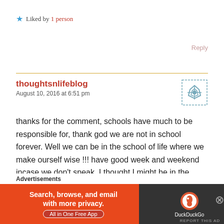★ Liked by 1 person
Reply
thoughtsnlifeblog
August 10, 2016 at 6:51 pm
thanks for the comment, schools have much to be responsible for, thank god we are not in school forever. Well we can be in the school of life where we make ourself wise !!! have good week and weekend incase we don't speak. I thought I might be in the swing of blogging and working  but I dont think I am   I am soooooo tired – but
Advertisements
[Figure (screenshot): DuckDuckGo advertisement banner: Search, browse, and email with more privacy. All in One Free App]